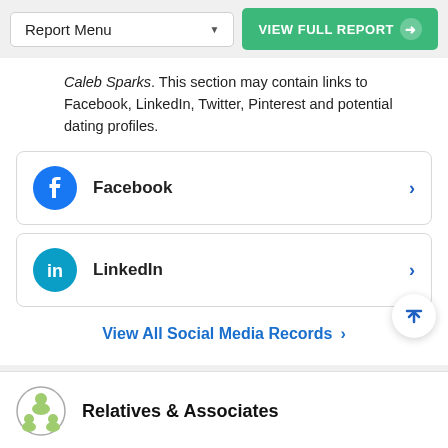Report Menu | VIEW FULL REPORT
Caleb Sparks. This section may contain links to Facebook, LinkedIn, Twitter, Pinterest and potential dating profiles.
Facebook
LinkedIn
View All Social Media Records
Relatives & Associates